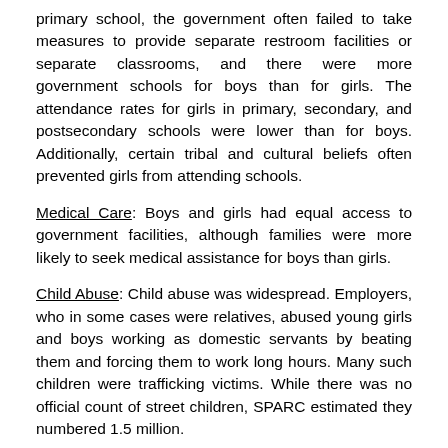primary school, the government often failed to take measures to provide separate restroom facilities or separate classrooms, and there were more government schools for boys than for girls. The attendance rates for girls in primary, secondary, and postsecondary schools were lower than for boys. Additionally, certain tribal and cultural beliefs often prevented girls from attending schools.
Medical Care: Boys and girls had equal access to government facilities, although families were more likely to seek medical assistance for boys than girls.
Child Abuse: Child abuse was widespread. Employers, who in some cases were relatives, abused young girls and boys working as domestic servants by beating them and forcing them to work long hours. Many such children were trafficking victims. While there was no official count of street children, SPARC estimated they numbered 1.5 million.